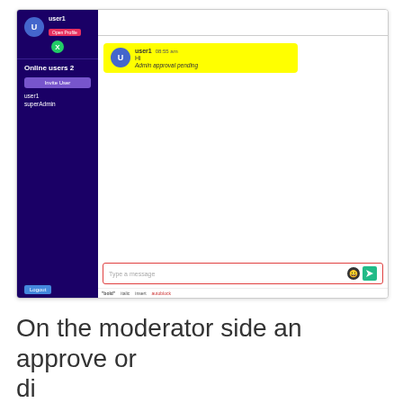[Figure (screenshot): Chat application screenshot showing a dark blue sidebar with user profile (user1), Open Profile button, online users count (2), Invite User button, user list (user1, superAdmin), Logout button. Main chat area shows a yellow highlighted message from user1 at 08:55 am saying 'Hi' and 'Admin approval pending'. Bottom has a message input box with placeholder 'Type a message' and send button.]
On the moderator side an approve or di...